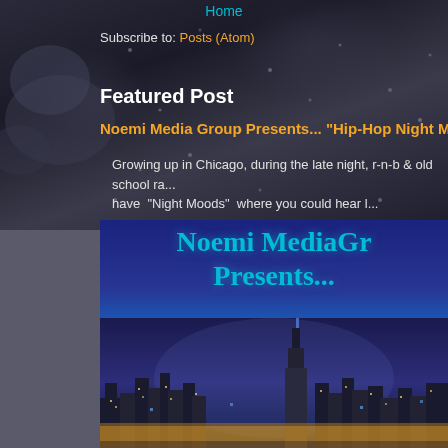Home
Subscribe to: Posts (Atom)
Featured Post
Noemi Media Group Presents... "Hip-Hop Night Moods..."
Growing up in Chicago, during the late night, r-n-b & old school ra... have "Night Moods" where you could hear l...
[Figure (photo): Promotional image for Noemi Media Group with text 'Noemi MediaGr... Presents...' in cyan serif font overlaid on a nighttime Chicago city skyline photograph with city lights and skyscrapers against a purple-blue sky.]